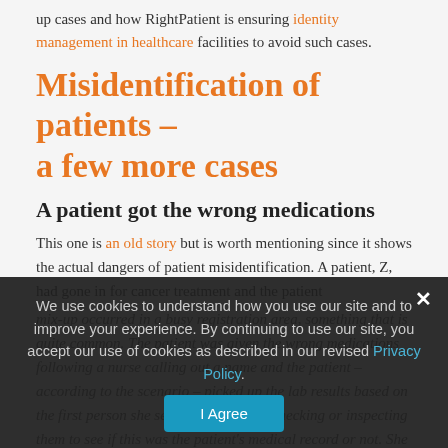up cases and how RightPatient is ensuring identity management in healthcare facilities to avoid such cases.
Misidentification of patients – a few more cases
A patient got the wrong medications
This one is an old story but is worth mentioning since it shows the actual dangers of patient misidentification. A patient, Z, had gone in for cancer treatment and the patient
mix-up occurred in a busy registration area, something that is quite common. The patient was given the wrong medications following a nurse calling out a name and the patient – according to the scenario – picked up the lab results based on the first person she set eyes on without checking or inspecting them to see if this was the patient's medical record or not. She was oblivious that there can be other patients with the same exact name – something that is quite
We use cookies to understand how you use our site and to improve your experience. By continuing to use our site, you accept our use of cookies as described in our revised Privacy Policy.
I Agree